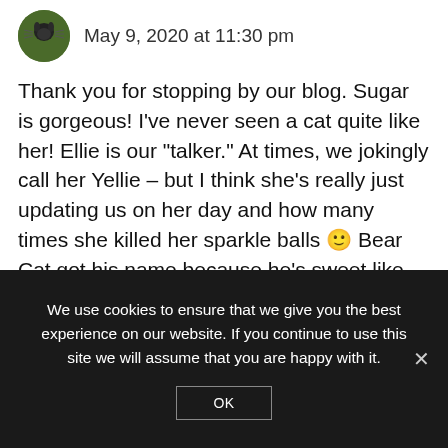May 9, 2020 at 11:30 pm
Thank you for stopping by our blog. Sugar is gorgeous! I've never seen a cat quite like her! Ellie is our “talker.” At times, we jokingly call her Yellie – but I think she’s really just updating us on her day and how many times she killed her sparkle balls 🙂 Bear Cat got his name because he’s sweet like Winnie the Pooh. Officially, his name is Pooh Bear – but with his … err … fascination for trouble, it
We use cookies to ensure that we give you the best experience on our website. If you continue to use this site we will assume that you are happy with it.
OK